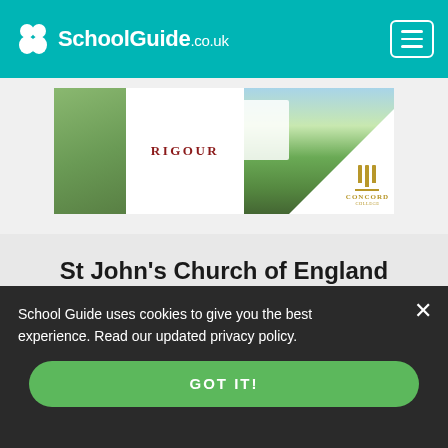SchoolGuide.co.uk
[Figure (photo): Concord College advertisement banner showing school building with manicured lawn, white card with RIGOUR text on left and Concord College logo on bottom right]
St John's Church of England Primary School
Catchment Area, Reviews and Key Information
School Guide uses cookies to give you the best experience. Read our updated privacy policy.
GOT IT!